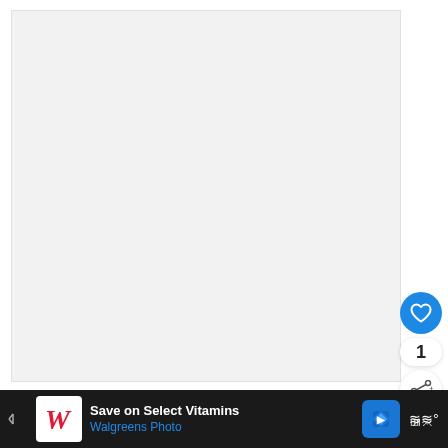[Figure (photo): Large light gray image placeholder area, approximately filling the upper 80% of the page content area.]
1
To capture NOCs, fire the grenade
[Figure (infographic): Dark advertisement bar at the bottom: Walgreens logo, 'Save on Select Vitamins', 'Walgreens Photo', blue navigation diamond icon, and a wireless/audio brand icon on the right.]